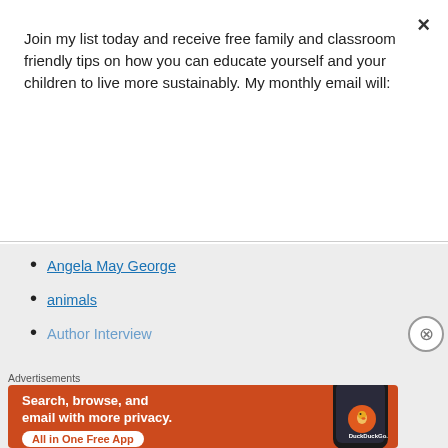Join my list today and receive free family and classroom friendly tips on how you can educate yourself and your children to live more sustainably. My monthly email will:
Subscribe
Angela May George
animals
Author Interview
Advertisements
[Figure (screenshot): DuckDuckGo advertisement banner: orange background with text 'Search, browse, and email with more privacy. All in One Free App' and DuckDuckGo logo with phone image]